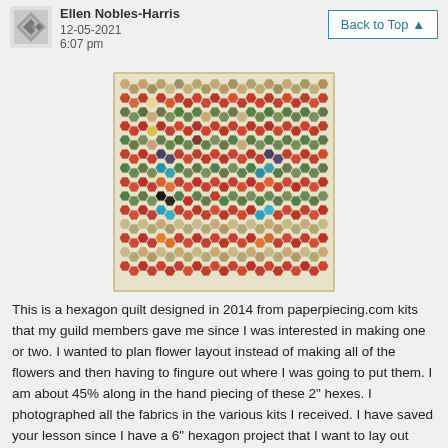Ellen Nobles-Harris
12-05-2021
6:07 pm
[Figure (photo): A hexagon quilt design showing a grid of colorful flower hexagon patterns in various colors including red, orange, green, purple, teal, and yellow on a cream/beige background]
This is a hexagon quilt designed in 2014 from paperpiecing.com kits that my guild members gave me since I was interested in making one or two. I wanted to plan flower layout instead of making all of the flowers and then having to fingure out where I was going to put them. I am about 45% along in the hand piecing of these 2" hexes. I photographed all the fabrics in the various kits I received. I have saved your lesson since I have a 6" hexagon project that I want to lay out where I can used pieced hexes.